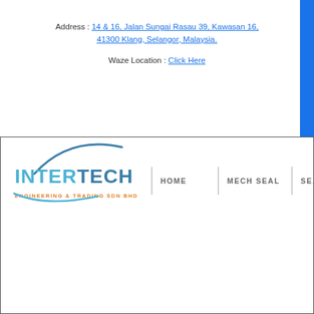Address : 14 & 16, Jalan Sungai Rasau 39, Kawasan 16, 41300 Klang, Selangor, Malaysia.
Waze Location : Click Here
[Figure (logo): Intertech Engineering & Trading Sdn Bhd company logo with navigation bar showing HOME, MECH SEAL, SEA... menu items]